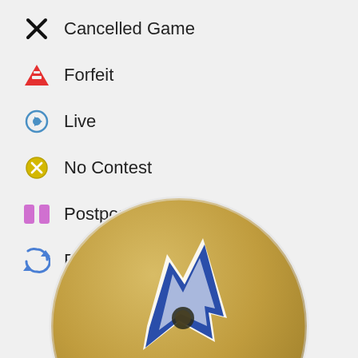Cancelled Game
Forfeit
Live
No Contest
Postponed
Rescheduled Game
[Figure (logo): Sports team logo — circular gold background with blue and white lightning bolt / shark fin design, partially cropped at bottom of page]